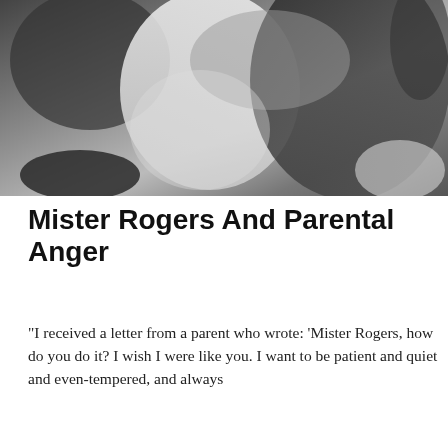[Figure (photo): Black and white photograph showing people, appears to show physical interaction or altercation between individuals]
Mister Rogers And Parental Anger
"I received a letter from a parent who wrote: 'Mister Rogers, how do you do it? I wish I were like you. I want to be patient and quiet and even-tempered, and always
Privacy & Cookies: This site uses cookies. By continuing to use this website, you agree to their use.
To find out more, including how to control cookies, see here: Cookie Policy